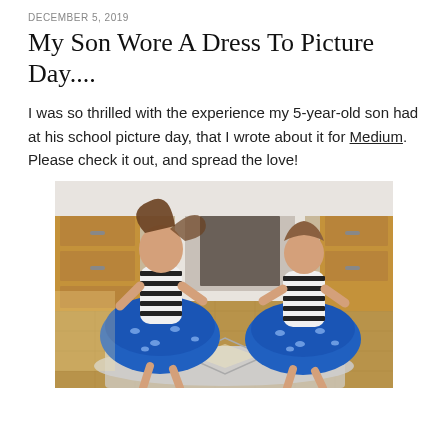DECEMBER 5, 2019
My Son Wore A Dress To Picture Day....
I was so thrilled with the experience my 5-year-old son had at his school picture day, that I wrote about it for Medium. Please check it out, and spread the love!
[Figure (photo): Two young children dancing indoors wearing matching blue patterned skirts and black-and-white striped tops, in front of a fireplace on a herringbone wood floor with a geometric rug.]